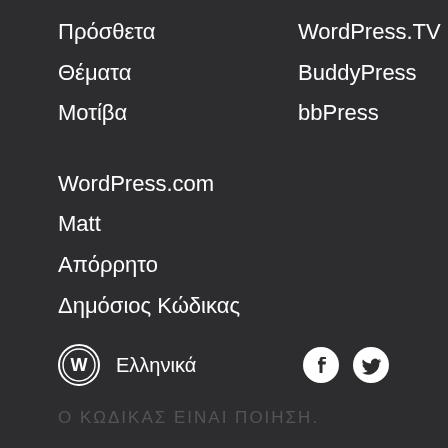Πρόσθετα
Θέματα
Μοτίβα
WordPress.TV
BuddyPress
bbPress
WordPress.com
Matt
Απόρρητο
Δημόσιος Κώδικας
Ελληνικά
Ο ΚΩΔΙΚΑΣ ΕΙΝΑΙ ΠΟΙΗΣΗ.